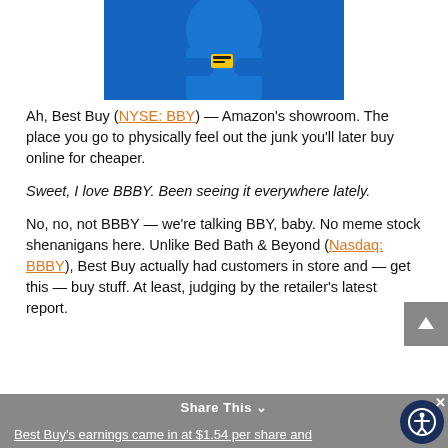[Figure (photo): A person in a blue Best Buy employee shirt with crossed arms, with a dark overlay banner at the bottom reading 'IT GIVES YOU THE BEST GRAPHICS']
Ah, Best Buy (NYSE: BBY) — Amazon's showroom. The place you go to physically feel out the junk you'll later buy online for cheaper.
Sweet, I love BBBY. Been seeing it everywhere lately.
No, no, not BBBY — we're talking BBY, baby. No meme stock shenanigans here. Unlike Bed Bath & Beyond (Nasdaq: BBBY), Best Buy actually had customers in store and — get this — buy stuff. At least, judging by the retailer's latest report.
Share This
Best Buy's earnings came in at $1.54 per share and